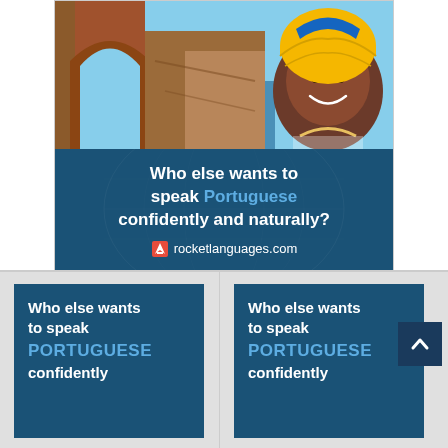[Figure (photo): Advertisement banner showing a woman in colorful African headwrap smiling in front of rock arch beach landscape. Blue band below reads: Who else wants to speak Portuguese confidently and naturally? rocketlanguages.com]
[Figure (photo): Smaller ad thumbnail on left: dark blue background, text reads Who else wants to speak PORTUGUESE confidently]
[Figure (photo): Smaller ad thumbnail on right: dark blue background, text reads Who else wants to speak PORTUGUESE confidently]